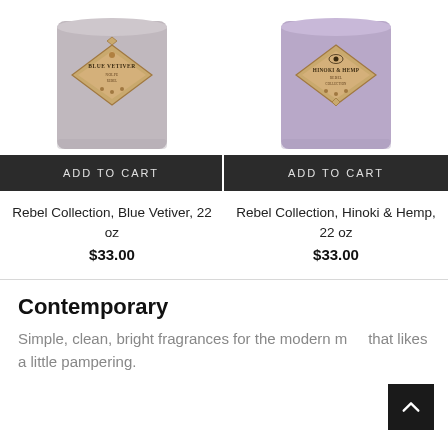[Figure (photo): Gray frosted glass candle jar with diamond-shaped gold label reading 'Blue Vetiver']
[Figure (photo): Purple/lavender frosted glass candle jar with diamond-shaped gold label reading 'Hinoki & Hemp']
ADD TO CART
ADD TO CART
Rebel Collection, Blue Vetiver, 22 oz
$33.00
Rebel Collection, Hinoki & Hemp, 22 oz
$33.00
Contemporary
Simple, clean, bright fragrances for the modern man that likes a little pampering.